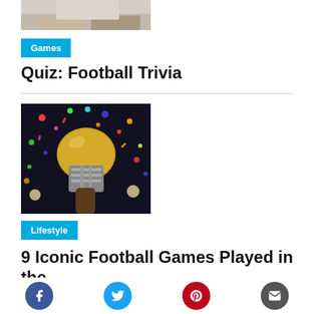[Figure (photo): Partial image of people sitting, cropped at top of page]
Games
Quiz: Football Trivia
[Figure (photo): Football helmet being raised with confetti falling in stadium]
Lifestyle
9 Iconic Football Games Played in the
[Figure (infographic): Social sharing buttons: Facebook, Twitter, Pinterest, Email]